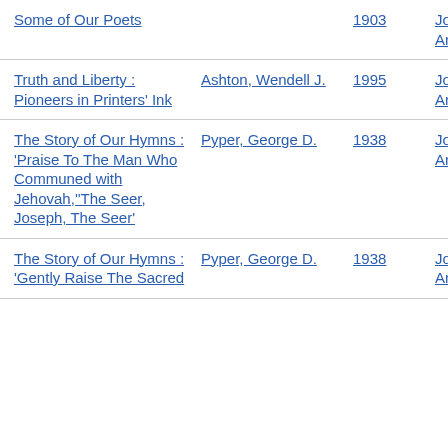| Title | Author | Year | Type |
| --- | --- | --- | --- |
| Some of Our Poets |  | 1903 | Journal Article |
| Truth and Liberty : Pioneers in Printers' Ink | Ashton, Wendell J. | 1995 | Journal Article |
| The Story of Our Hymns : 'Praise To The Man Who Communed with Jehovah,''The Seer, Joseph, The Seer' | Pyper, George D. | 1938 | Journal Article |
| The Story of Our Hymns : 'Gently Raise The Sacred ... | Pyper, George D. | 1938 | Journal Article |